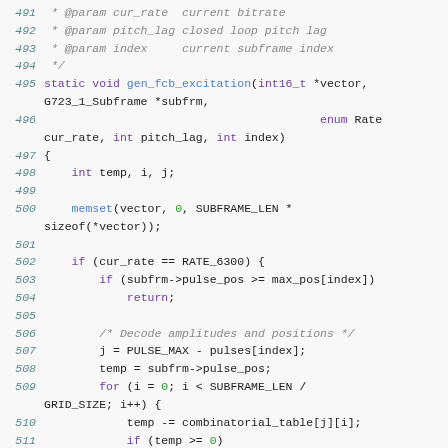[Figure (screenshot): Source code listing in C, showing function gen_fcb_excitation with syntax highlighting. Lines 491-511 visible. Line numbers in teal/italic, keywords in purple, function names in blue, numeric literals in green, comments in gray italic.]